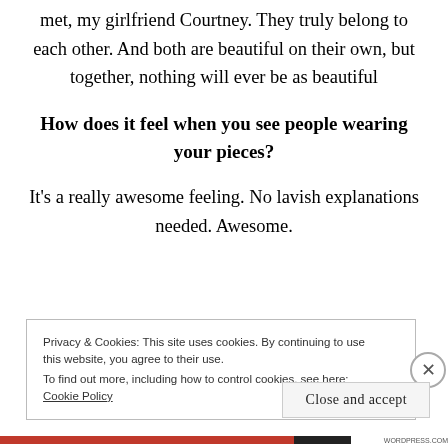met, my girlfriend Courtney. They truly belong to each other. And both are beautiful on their own, but together, nothing will ever be as beautiful
How does it feel when you see people wearing your pieces?
It's a really awesome feeling. No lavish explanations needed. Awesome.
Privacy & Cookies: This site uses cookies. By continuing to use this website, you agree to their use. To find out more, including how to control cookies, see here: Cookie Policy
Close and accept